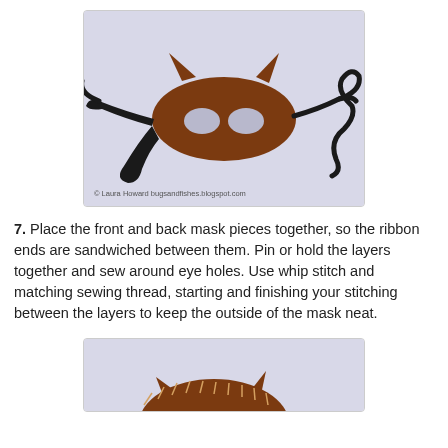[Figure (photo): A brown felt cat mask with black ribbon ties laid flat on a light purple background. The mask has cat ear shapes at the top and two eye holes cut out. The black ribbons extend outward from the sides.]
© Laura Howard bugsandfishes.blogspot.com
7. Place the front and back mask pieces together, so the ribbon ends are sandwiched between them. Pin or hold the layers together and sew around eye holes. Use whip stitch and matching sewing thread, starting and finishing your stitching between the layers to keep the outside of the mask neat.
[Figure (photo): Partial view of a brown felt cat mask showing the top portion with cat ears and the beginning of whip stitch stitching around the edge, on a light purple background.]